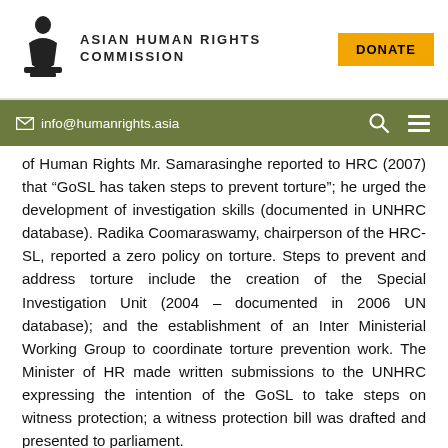Asian Human Rights Commission | DONATE
info@humanrights.asia
of Human Rights Mr. Samarasinghe reported to HRC (2007) that “GoSL has taken steps to prevent torture”; he urged the development of investigation skills (documented in UNHRC database). Radika Coomaraswamy, chairperson of the HRC-SL, reported a zero policy on torture. Steps to prevent and address torture include the creation of the Special Investigation Unit (2004 – documented in 2006 UN database); and the establishment of an Inter Ministerial Working Group to coordinate torture prevention work. The Minister of HR made written submissions to the UNHRC expressing the intention of the GoSL to take steps on witness protection; a witness protection bill was drafted and presented to parliament.
16 Awareness on CAT Act: “Before 2004 nobody knew about the Cat Act. It is problematic to estimate how many people